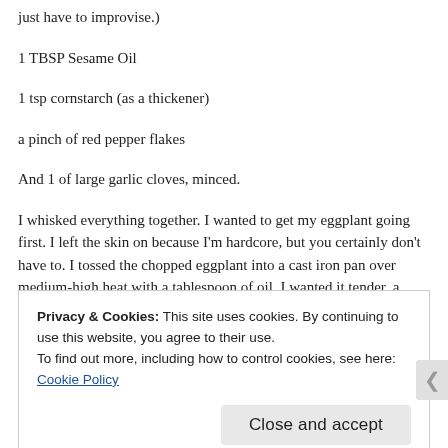just have to improvise.)
1 TBSP Sesame Oil
1 tsp cornstarch (as a thickener)
a pinch of red pepper flakes
And 1 of large garlic cloves, minced.
I whisked everything together. I wanted to get my eggplant going first. I left the skin on because I'm hardcore, but you certainly don't have to. I tossed the chopped eggplant into a cast iron pan over medium-high heat with a tablespoon of oil. I wanted it tender, a little brown, but not
Privacy & Cookies: This site uses cookies. By continuing to use this website, you agree to their use.
To find out more, including how to control cookies, see here: Cookie Policy
Close and accept